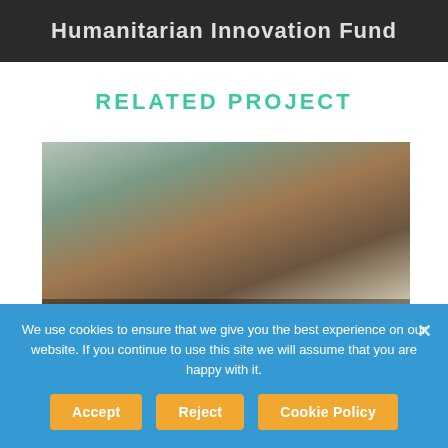[Figure (photo): Top dark banner with partial text 'Humanitarian Innovation Fund' visible in white]
RELATED PROJECT
[Figure (photo): Photo of a child in a medical/humanitarian setting, overlaid with text 'SIMULATION-BASED TRAINING TOOLS FOR JIT CAPACITY BUILDING']
We use cookies to ensure that we give you the best experience on our website. If you continue to use this site we will assume that you are happy with it.
Accept
Reject
Cookie Policy